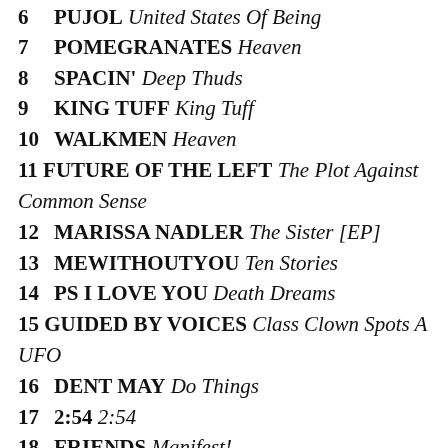6   PUJOL   United States Of Being
7   POMEGRANATES   Heaven
8   SPACIN'   Deep Thuds
9   KING TUFF   King Tuff
10   WALKMEN   Heaven
11   FUTURE OF THE LEFT   The Plot Against Common Sense
12   MARISSA NADLER   The Sister [EP]
13   MEWITHOUTYOU   Ten Stories
14   PS I LOVE YOU   Death Dreams
15   GUIDED BY VOICES   Class Clown Spots A UFO
16   DENT MAY   Do Things
17   2:54   2:54
18   FRIENDS   Manifest!
19   K-HOLES   Dismania